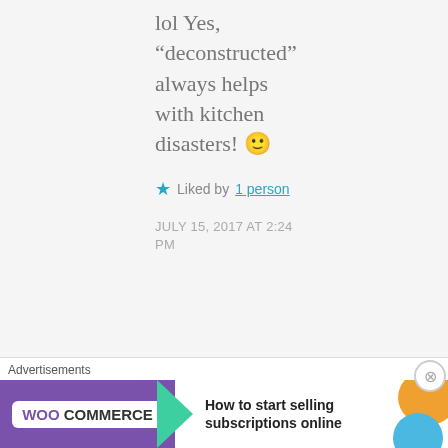lol Yes, “deconstructed” always helps with kitchen disasters! 🙂
★ Liked by 1 person
JULY 15, 2017 AT 2:24 PM
[Figure (photo): Avatar/profile photo of commenter Dangerspouse, showing a person wearing military-style hat with glasses]
Dangerspouse
Advertisements
[Figure (other): WooCommerce advertisement banner: purple background with WooCommerce logo and text 'How to start selling subscriptions online']